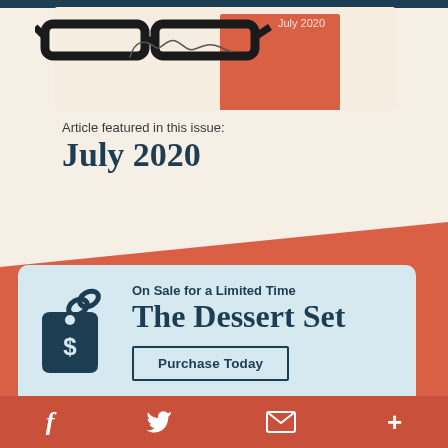[Figure (photo): Top portion of a magazine cover or newsletter showing glasses on a decorative background with coral/red accent, cursive signature, and 'July 2020' text]
Article featured in this issue:
July 2020
[Figure (infographic): Orange/coral diagonal band background with a light blue sale card containing a price tag icon, 'On Sale for a Limited Time', 'The Dessert Set' heading, and a 'Purchase Today' button]
f  Twitter  Email  +